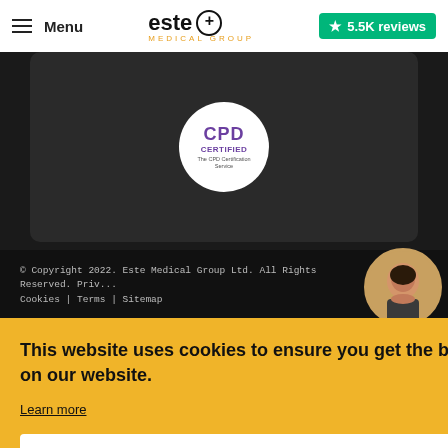Menu | este+ MEDICAL GROUP | 5.5K reviews
[Figure (logo): CPD Certified badge - circular white badge with purple CPD text, CERTIFIED text, and The CPD Certification Service subtitle]
© Copyright 2022. Este Medical Group Ltd. All Rights Reserved. Priv... Cookies | Terms | Sitemap
[Figure (photo): Circular avatar photo of a woman with dark hair on golden/brown background]
Design
ng
d.
This website uses cookies to ensure you get the best experience on our website.
Learn more
I Agree
[Figure (logo): WhatsApp button icon - green rounded square with white phone/chat icon]